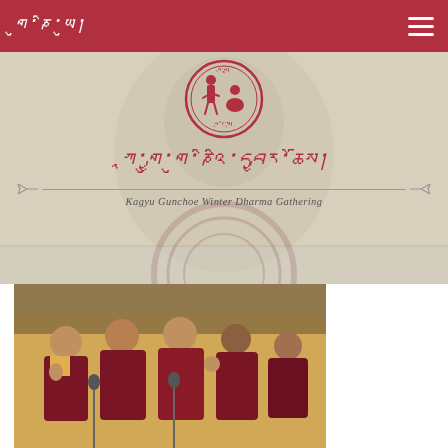གུ་ཎི་ (Tibetan script logo) — navigation header with hamburger menu
[Figure (logo): Circular emblem with Tibetan figures and Tibetan script text, red color on beige background]
ཀཱ་གྱུ་གུ་ཎིའི་དབྱར་ཆོས། (Tibetan script title for Kagyu Gunchoe Winter Dharma Gathering)
Kagyu Gunchoe Winter Dharma Gathering
[Figure (photo): Buddhist monks in maroon and yellow robes engaged in debate or teaching, with microphones, in a temple setting]